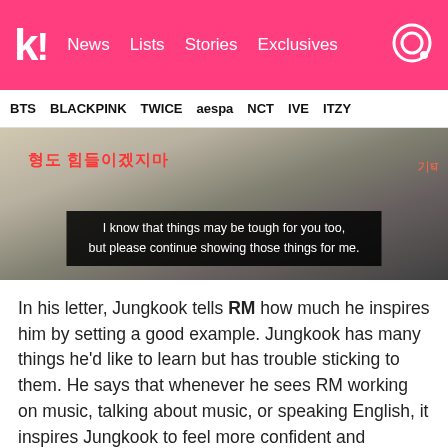K! News Lists Stories Exclusives
BTS BLACKPINK TWICE aespa NCT IVE ITZY
[Figure (screenshot): Video screenshot showing hands holding paper with Korean handwriting overlay and English subtitle: 'I know that things may be tough for you too, but please continue showing those things for me.']
In his letter, Jungkook tells RM how much he inspires him by setting a good example. Jungkook has many things he'd like to learn but has trouble sticking to them. He says that whenever he sees RM working on music, talking about music, or speaking English, it inspires Jungkook to feel more confident and passionate about his own goals.